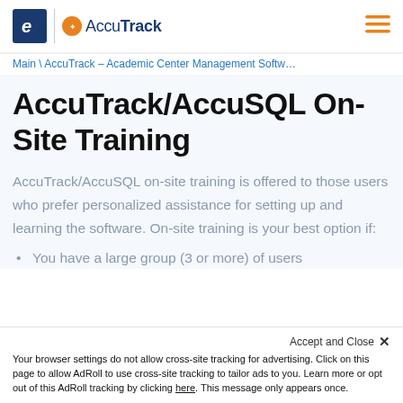AccuTrack — Academic Center Management Software
Main \ AccuTrack – Academic Center Management Softw…
AccuTrack/AccuSQL On-Site Training
AccuTrack/AccuSQL on-site training is offered to those users who prefer personalized assistance for setting up and learning the software. On-site training is your best option if:
You have a large group (3 or more) of users
Your browser settings do not allow cross-site tracking for advertising. Click on this page to allow AdRoll to use cross-site tracking to tailor ads to you. Learn more or opt out of this AdRoll tracking by clicking here. This message only appears once.